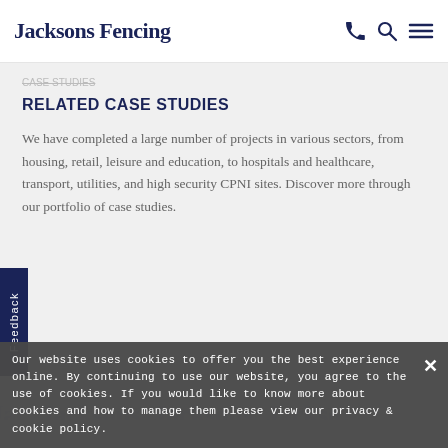Jacksons Fencing
RELATED CASE STUDIES
We have completed a large number of projects in various sectors, from housing, retail, leisure and education, to hospitals and healthcare, transport, utilities, and high security CPNI sites. Discover more through our portfolio of case studies.
[Figure (illustration): Image Coming Soon placeholder with Jacksons watermark repeated in background]
Our website uses cookies to offer you the best experience online. By continuing to use our website, you agree to the use of cookies. If you would like to know more about cookies and how to manage them please view our privacy & cookie policy.